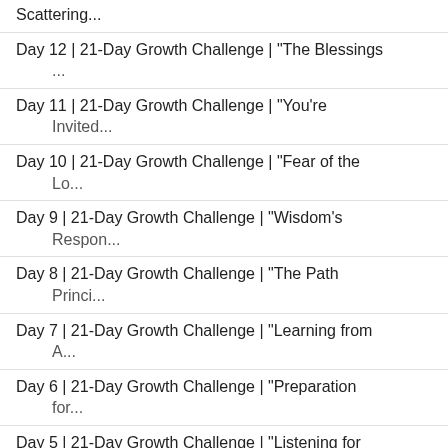Scattering...
Day 12 | 21-Day Growth Challenge | "The Blessings ...
Day 11 | 21-Day Growth Challenge | "You're Invited...
Day 10 | 21-Day Growth Challenge | "Fear of the Lo...
Day 9 | 21-Day Growth Challenge | "Wisdom's Respon...
Day 8 | 21-Day Growth Challenge | "The Path Princi...
Day 7 | 21-Day Growth Challenge | "Learning from A...
Day 6 | 21-Day Growth Challenge | "Preparation for...
Day 5 | 21-Day Growth Challenge | "Listening for L...
Day 4 | 21-Day Growth Challenge | A Key to Life: L...
Day 3 | 21-Day Growth Challenge | Joy and Responsi...